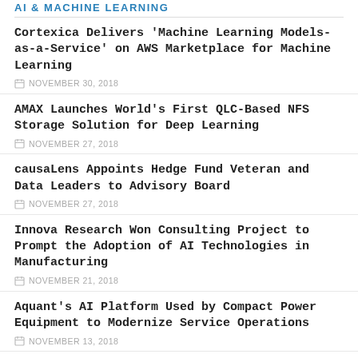AI & MACHINE LEARNING
Cortexica Delivers 'Machine Learning Models-as-a-Service' on AWS Marketplace for Machine Learning
NOVEMBER 30, 2018
AMAX Launches World's First QLC-Based NFS Storage Solution for Deep Learning
NOVEMBER 27, 2018
causaLens Appoints Hedge Fund Veteran and Data Leaders to Advisory Board
NOVEMBER 27, 2018
Innova Research Won Consulting Project to Prompt the Adoption of AI Technologies in Manufacturing
NOVEMBER 21, 2018
Aquant's AI Platform Used by Compact Power Equipment to Modernize Service Operations
NOVEMBER 13, 2018
NETWORK SECURITY
The Importance Of Using A Vulnerability